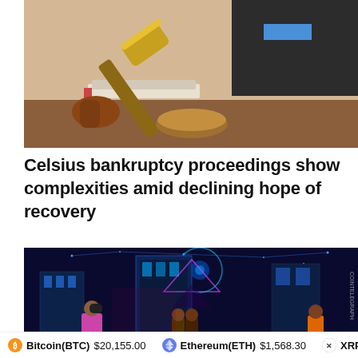[Figure (illustration): Illustrated image of a judge's gavel striking a sound block on a wooden desk, with a suited figure in the background — stylized cartoon/comic art style depicting a courtroom scene.]
Celsius bankruptcy proceedings show complexities amid declining hope of recovery
[Figure (illustration): Digital art illustration of futuristic glowing city buildings with a large digital eye in the background networked with blue light connections. People including a woman in a pink top talking on a phone are visible in the foreground. Cointelegraph watermark visible.]
Bitcoin(BTC) $20,155.00   Ethereum(ETH) $1,568.30   XRP(